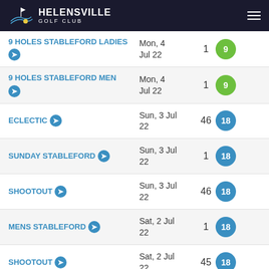Helensville Golf Club
9 HOLES STABLEFORD Ladies | Mon, 4 Jul 22 | 1 | 9
9 HOLES STABLEFORD Men | Mon, 4 Jul 22 | 1 | 9
ECLECTIC | Sun, 3 Jul 22 | 46 | 18
SUNDAY STABLEFORD | Sun, 3 Jul 22 | 1 | 18
SHOOTOUT | Sun, 3 Jul 22 | 46 | 18
MENS STABLEFORD | Sat, 2 Jul 22 | 1 | 18
SHOOTOUT | Sat, 2 Jul 22 | 45 | 18